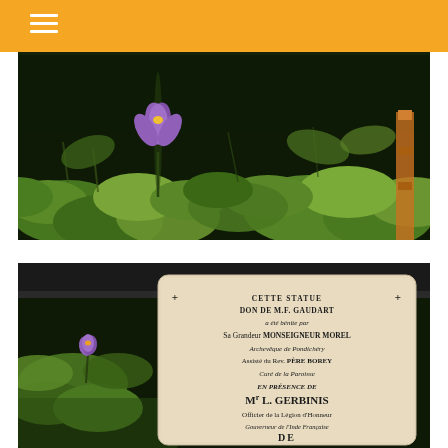[Figure (photo): Close-up photograph of a water lily pond with large green lily pads and a single purple lotus flower blooming, taken in bright sunlight]
[Figure (photo): Photograph of a stone inscription plaque partially submerged or near a water lily pond. The plaque reads: CETTE STATUE + DON DE M.F. GAUDART a été bénite par Sa Grandeur MONSEIGNEUR MOREL Archevêque de Pondichéry Assisté du Rev. PÈRE BOREY Curé de la Paroisse EN PRÉSENCE DE Mr L. GERBINIS Officier de la Légion d'Honneur Gouverneur de l'Inde Française DE]